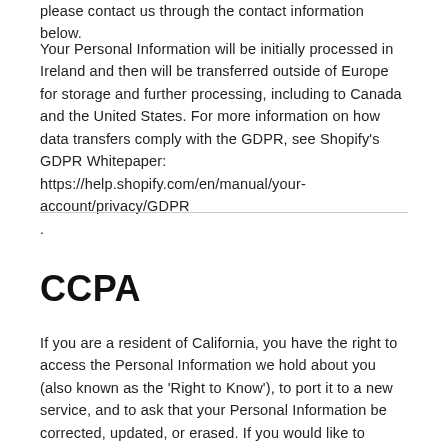please contact us through the contact information below.
Your Personal Information will be initially processed in Ireland and then will be transferred outside of Europe for storage and further processing, including to Canada and the United States. For more information on how data transfers comply with the GDPR, see Shopify’s GDPR Whitepaper: https://help.shopify.com/en/manual/your-account/privacy/GDPR
.
CCPA
If you are a resident of California, you have the right to access the Personal Information we hold about you (also known as the ‘Right to Know’), to port it to a new service, and to ask that your Personal Information be corrected, updated, or erased. If you would like to exercise these rights, please contact us through